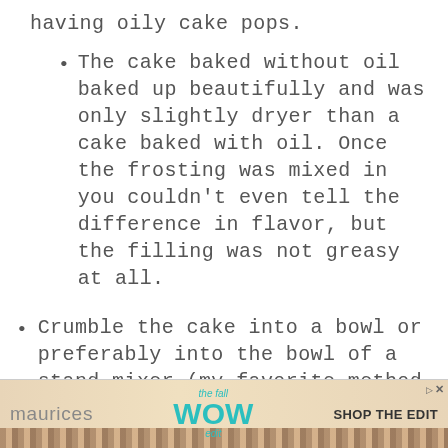having oily cake pops.
The cake baked without oil baked up beautifully and was only slightly dryer than a cake baked with oil. Once the frosting was mixed in you couldn't even tell the difference in flavor, but the filling was not greasy at all.
Crumble the cake into a bowl or preferably into the bowl of a stand mixer (my favorite method for
[Figure (other): Advertisement banner for Maurices featuring 'the fall WOW edit' text and 'SHOP THE EDIT' call to action]